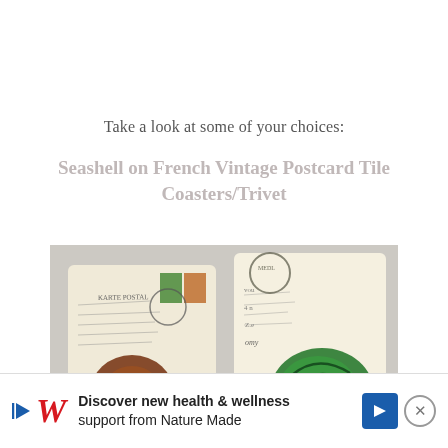Take a look at some of your choices:
Seashell on French Vintage Postcard Tile Coasters/Trivet
[Figure (photo): Two ceramic tile coasters with vintage French postcard designs. Left coaster has a brown seashell on aged postcard text with Paris XVI and France written. Right coaster has a green striped seashell on similar postcard with France written.]
Discover new health & wellness support from Nature Made